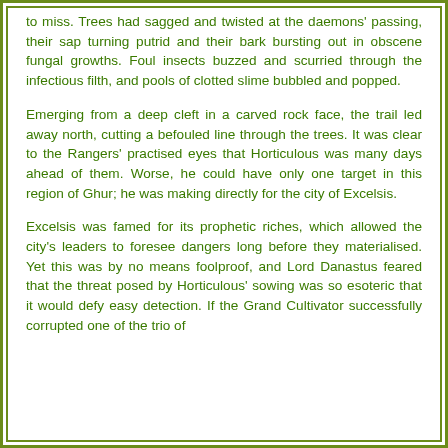to miss. Trees had sagged and twisted at the daemons' passing, their sap turning putrid and their bark bursting out in obscene fungal growths. Foul insects buzzed and scurried through the infectious filth, and pools of clotted slime bubbled and popped.
Emerging from a deep cleft in a carved rock face, the trail led away north, cutting a befouled line through the trees. It was clear to the Rangers' practised eyes that Horticulous was many days ahead of them. Worse, he could have only one target in this region of Ghur; he was making directly for the city of Excelsis.
Excelsis was famed for its prophetic riches, which allowed the city's leaders to foresee dangers long before they materialised. Yet this was by no means foolproof, and Lord Danastus feared that the threat posed by Horticulous' sowing was so esoteric that it would defy easy detection. If the Grand Cultivator successfully corrupted one of the trio of